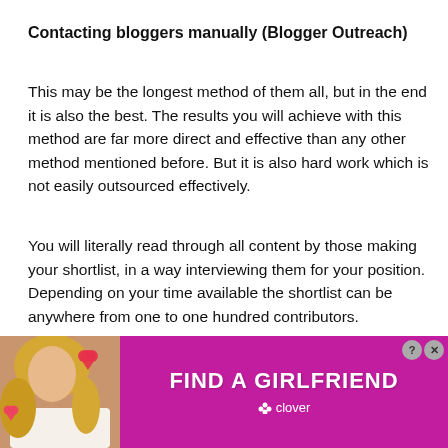Contacting bloggers manually (Blogger Outreach)
This may be the longest method of them all, but in the end it is also the best. The results you will achieve with this method are far more direct and effective than any other method mentioned before. But it is also hard work which is not easily outsourced effectively.
You will literally read through all content by those making your shortlist, in a way interviewing them for your position. Depending on your time available the shortlist can be anywhere from one to one hundred contributors.
What remains to be done is to contact them stating your
[Figure (infographic): Advertisement banner for 'Find a Girlfriend' by Clover dating app, with a photo of a blond woman and red heart graphics on a pink/purple background]